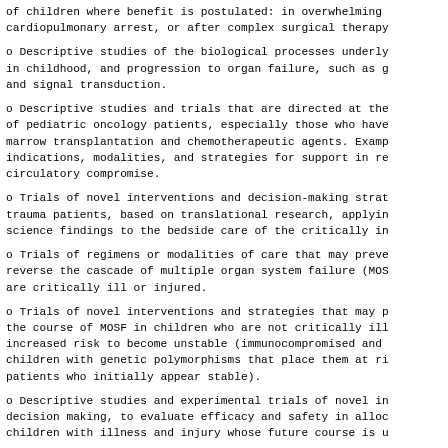o  of children where benefit is postulated: in overwhelming cardiopulmonary arrest, or after complex surgical therapy
o Descriptive studies of the biological processes underlying in childhood, and progression to organ failure, such as g and signal transduction.
o Descriptive studies and trials that are directed at the of pediatric oncology patients, especially those who have marrow transplantation and chemotherapeutic agents. Examp indications, modalities, and strategies for support in re circulatory compromise.
o Trials of novel interventions and decision-making strat trauma patients, based on translational research, applyin science findings to the bedside care of the critically in
o Trials of regimens or modalities of care that may preve reverse the cascade of multiple organ system failure (MOS are critically ill or injured.
o Trials of novel interventions and strategies that may p the course of MOSF in children who are not critically ill increased risk to become unstable (immunocompromised and children with genetic polymorphisms that place them at ri patients who initially appear stable).
o Descriptive studies and experimental trials of novel in decision making, to evaluate efficacy and safety in alloc children with illness and injury whose future course is u